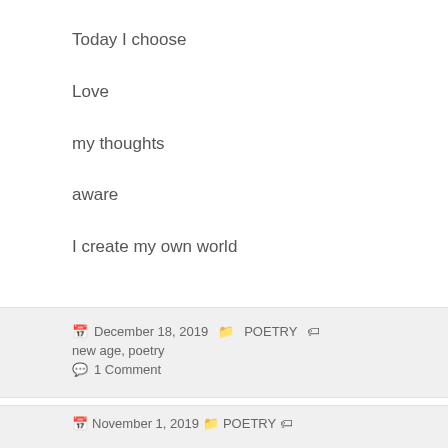Today I choose
Love
my thoughts
aware
I create my own world
December 18, 2019  POETRY  new age, poetry  1 Comment
www.youtube.com/watch
November 1, 2019  POETRY  ...